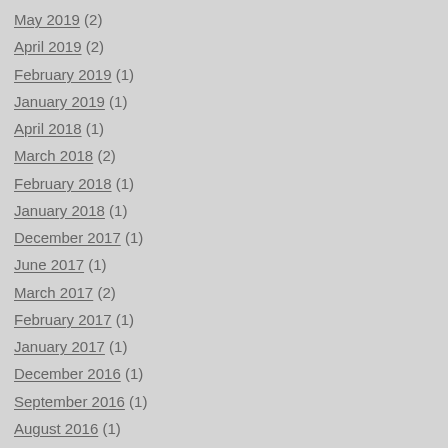May 2019 (2)
April 2019 (2)
February 2019 (1)
January 2019 (1)
April 2018 (1)
March 2018 (2)
February 2018 (1)
January 2018 (1)
December 2017 (1)
June 2017 (1)
March 2017 (2)
February 2017 (1)
January 2017 (1)
December 2016 (1)
September 2016 (1)
August 2016 (1)
July 2016 (3)
June 2016 (4)
May 2016 (?)